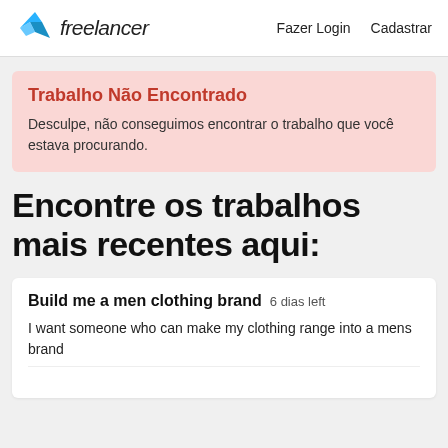Freelancer  Fazer Login  Cadastrar
Trabalho Não Encontrado
Desculpe, não conseguimos encontrar o trabalho que você estava procurando.
Encontre os trabalhos mais recentes aqui:
Build me a men clothing brand  6 dias left
I want someone who can make my clothing range into a mens brand